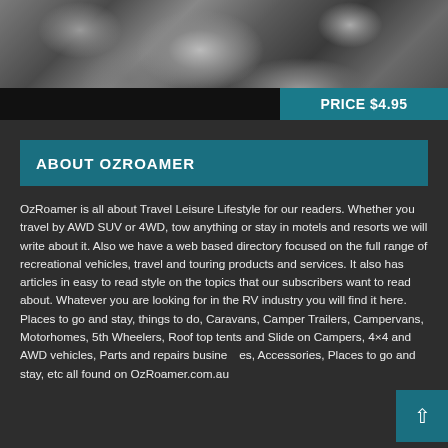[Figure (photo): Rocky landscape photo cropped at top with a black bar and teal price box overlay at bottom]
PRICE $4.95
ABOUT OZROAMER
OzRoamer is all about Travel Leisure Lifestyle for our readers. Whether you travel by AWD SUV or 4WD, tow anything or stay in motels and resorts we will write about it. Also we have a web based directory focused on the full range of recreational vehicles, travel and touring products and services. It also has articles in easy to read style on the topics that our subscribers want to read about. Whatever you are looking for in the RV industry you will find it here. Places to go and stay, things to do, Caravans, Camper Trailers, Campervans, Motorhomes, 5th Wheelers, Roof top tents and Slide on Campers, 4×4 and AWD vehicles, Parts and repairs businesses, Accessories, Places to go and stay, etc all found on OzRoamer.com.au